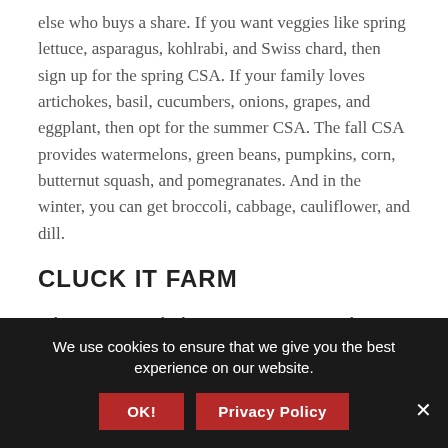else who buys a share. If you want veggies like spring lettuce, asparagus, kohlrabi, and Swiss chard, then sign up for the spring CSA. If your family loves artichokes, basil, cucumbers, onions, grapes, and eggplant, then opt for the summer CSA. The fall CSA provides watermelons, green beans, pumpkins, corn, butternut squash, and pomegranates. And in the winter, you can get broccoli, cabbage, cauliflower, and dill.
CLUCK IT FARM
When you get a Cluck It Farm CSA, you get the option of picking it up yourself at the farm or having it delivered to your home. You also get to choose between the half option, which is a mixed selection of six vegetables, fruits, and microgreens, and
We use cookies to ensure that we give you the best experience on our website.